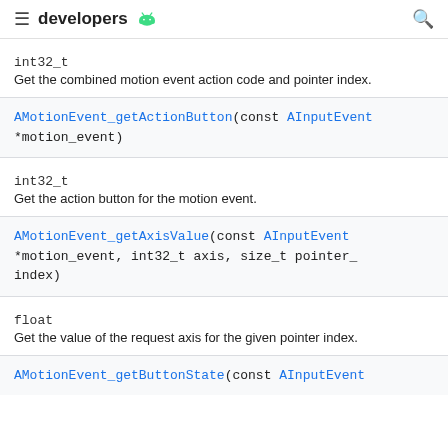developers
int32_t
Get the combined motion event action code and pointer index.
AMotionEvent_getActionButton(const AInputEvent *motion_event)
int32_t
Get the action button for the motion event.
AMotionEvent_getAxisValue(const AInputEvent *motion_event, int32_t axis, size_t pointer_index)
float
Get the value of the request axis for the given pointer index.
AMotionEvent_getButtonState(const AInputEvent